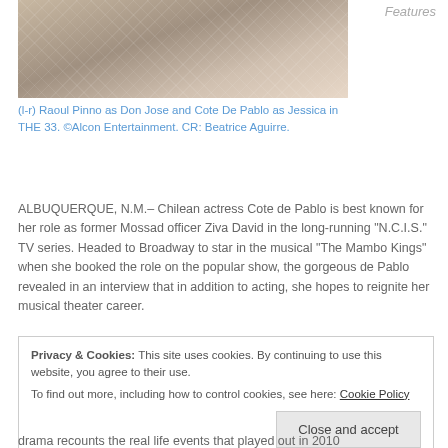[Figure (photo): Photo of people standing behind a chain-link fence, partially cropped at top]
Features
(l-r) Raoul Pinno as Don Jose and Cote De Pablo as Jessica in THE 33. ©Alcon Entertainment. CR: Beatrice Aguirre.
ALBUQUERQUE, N.M.– Chilean actress Cote de Pablo is best known for her role as former Mossad officer Ziva David in the long-running "N.C.I.S." TV series. Headed to Broadway to star in the musical "The Mambo Kings" when she booked the role on the popular show, the gorgeous de Pablo revealed in an interview that in addition to acting, she hopes to reignite her musical theater career.
Privacy & Cookies: This site uses cookies. By continuing to use this website, you agree to their use.
To find out more, including how to control cookies, see here: Cookie Policy
drama recounts the real life events that played out in 2010